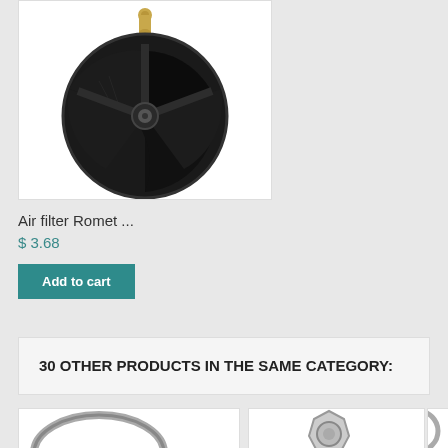[Figure (photo): Air filter product image — round black air filter with three-spoke design and small brass bolt/nut on top, photographed on white background]
Air filter Romet ...
$ 3.68
Add to cart
30 OTHER PRODUCTS IN THE SAME CATEGORY:
[Figure (photo): Partial product image — appears to be a metallic ring/gasket, visible at bottom left]
[Figure (photo): Partial product image — appears to be a metallic tool or socket, visible at bottom center]
[Figure (photo): Partial product image — appears to be a metallic part, partially cut off at bottom right]